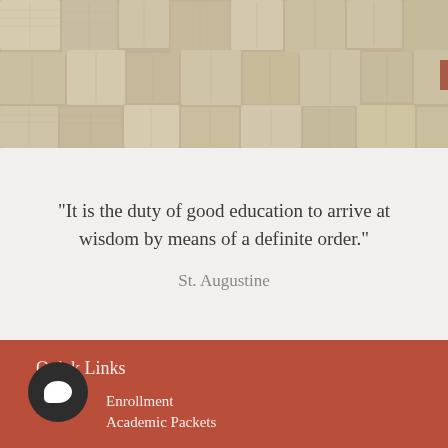[Figure (photo): Stack of open books viewed from above, showing pages fanned out, in warm beige and cream tones]
"It is the duty of good education to arrive at wisdom by means of a definite order."
St. Augustine
Quick Links
Enrollment
Academic Packets